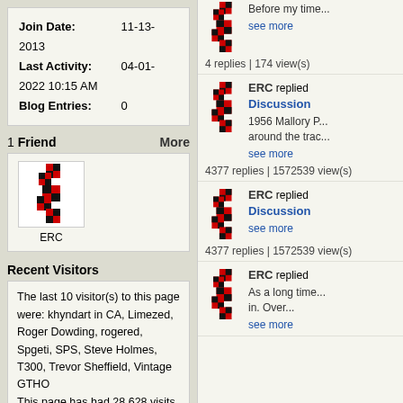| Join Date: | 11-13-2013 |
| Last Activity: | 04-01-2022 10:15 AM |
| Blog Entries: | 0 |
1 Friend   More
[Figure (logo): ERC logo - red and black motorsport style logo]
ERC
Recent Visitors
The last 10 visitor(s) to this page were: khyndart in CA, Limezed, Roger Dowding, rogered, Spgeti, SPS, Steve Holmes, T300, Trevor Sheffield, Vintage GTHO
This page has had 28,628 visits
Before my time...
see more
4 replies | 174 view(s)
[Figure (logo): ERC logo - red and black motorsport style logo]
ERC replied Discussion
1956 Mallory P... around the trac...
see more
4377 replies | 1572539 view(s)
[Figure (logo): ERC logo - red and black motorsport style logo]
ERC replied Discussion
see more
4377 replies | 1572539 view(s)
[Figure (logo): ERC logo - red and black motorsport style logo]
ERC replied
As a long time... in. Over...
see more